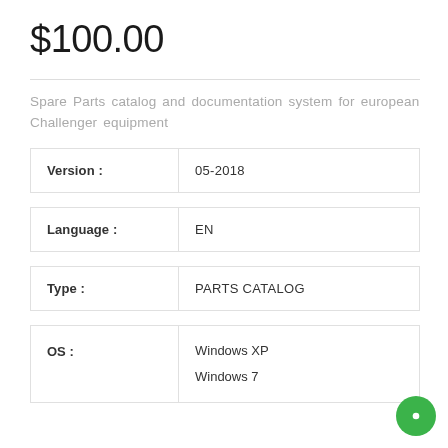$100.00
Spare Parts catalog and documentation system for european Challenger equipment
| Version : | 05-2018 |
| --- | --- |
| Language : | EN |
| --- | --- |
| Type : | PARTS CATALOG |
| --- | --- |
| OS : |  |
| --- | --- |
|  | Windows XP
Windows 7 |